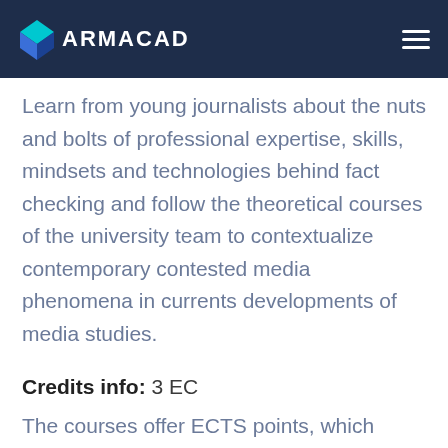ARMACAD
Learn from young journalists about the nuts and bolts of professional expertise, skills, mindsets and technologies behind fact checking and follow the theoretical courses of the university team to contextualize contemporary contested media phenomena in currents developments of media studies.
Credits info: 3 EC
The courses offer ECTS points, which